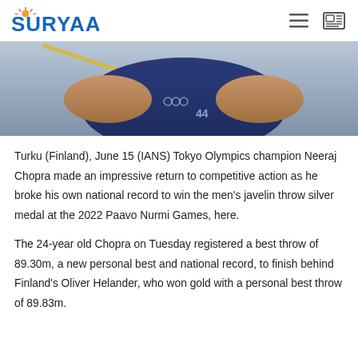SURYAA
[Figure (photo): Close-up photo of javelin thrower Neeraj Chopra in a dark blue Indian Olympic uniform, holding a javelin, with a blurred background]
Turku (Finland), June 15 (IANS) Tokyo Olympics champion Neeraj Chopra made an impressive return to competitive action as he broke his own national record to win the men's javelin throw silver medal at the 2022 Paavo Nurmi Games, here.
The 24-year old Chopra on Tuesday registered a best throw of 89.30m, a new personal best and national record, to finish behind Finland's Oliver Helander, who won gold with a personal best throw of 89.83m.